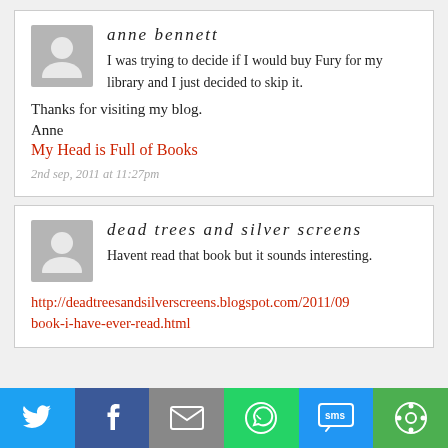anne bennett
I was trying to decide if I would buy Fury for my library and I just decided to skip it.
Thanks for visiting my blog.
Anne
My Head is Full of Books
2nd sep, 2011 at 11:27pm
dead trees and silver screens
Havent read that book but it sounds interesting.
http://deadtreesandsilverscreens.blogspot.com/2011/09 book-i-have-ever-read.html